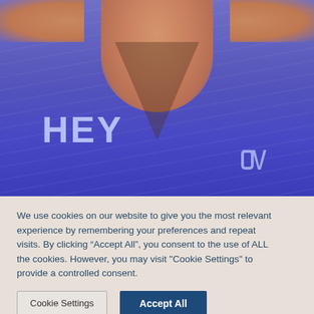[Figure (photo): Photo of a person wearing a purple Under Armour v-neck t-shirt with the word 'HEY' printed on the left chest area. Only the neck/chest and upper arms are visible. The shirt has subtle stripe texturing.]
We use cookies on our website to give you the most relevant experience by remembering your preferences and repeat visits. By clicking “Accept All”, you consent to the use of ALL the cookies. However, you may visit "Cookie Settings" to provide a controlled consent.